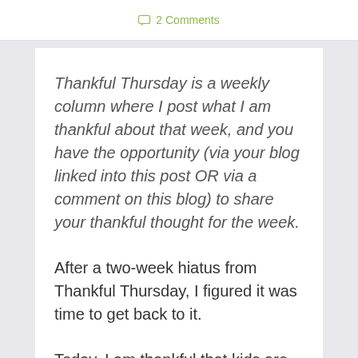2 Comments
Thankful Thursday is a weekly column where I post what I am thankful about that week, and you have the opportunity (via your blog linked into this post OR via a comment on this blog) to share your thankful thought for the week.
After a two-week hiatus from Thankful Thursday, I figured it was time to get back to it.
Today, I am thankful that kids are so darn forgiving. Being that I have felt